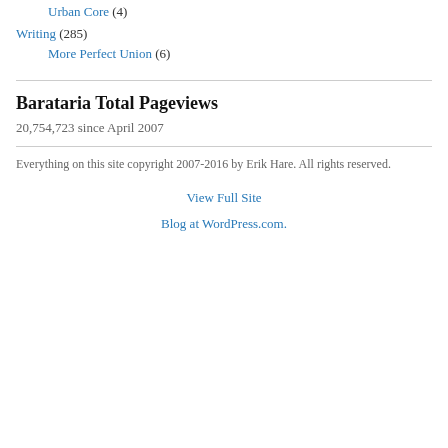Urban Core (4)
Writing (285)
More Perfect Union (6)
Barataria Total Pageviews
20,754,723 since April 2007
Everything on this site copyright 2007-2016 by Erik Hare. All rights reserved.
View Full Site
Blog at WordPress.com.